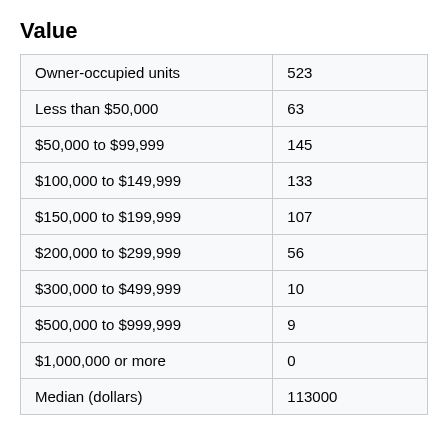Value
| Owner-occupied units | 523 |
| Less than $50,000 | 63 |
| $50,000 to $99,999 | 145 |
| $100,000 to $149,999 | 133 |
| $150,000 to $199,999 | 107 |
| $200,000 to $299,999 | 56 |
| $300,000 to $499,999 | 10 |
| $500,000 to $999,999 | 9 |
| $1,000,000 or more | 0 |
| Median (dollars) | 113000 |